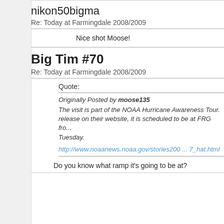nikon50bigma
Re: Today at Farmingdale 2008/2009
Nice shot Moose!
Big Tim #70
Re: Today at Farmingdale 2008/2009
Quote:
Originally Posted by moose135
The visit is part of the NOAA Hurricane Awareness Tour. release on their website, it is scheduled to be at FRG fro... Tuesday.
http://www.noaanews.noaa.gov/stories200 ... 7_hat.html
Do you know what ramp it's going to be at?